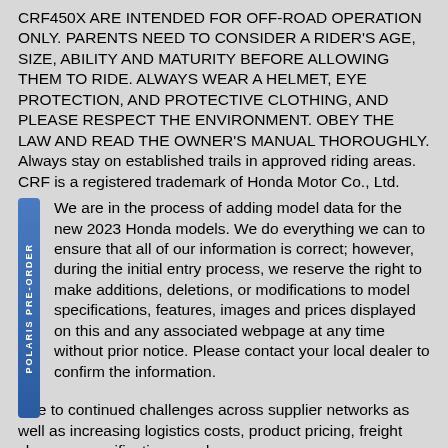CRF450X ARE INTENDED FOR OFF-ROAD OPERATION ONLY. PARENTS NEED TO CONSIDER A RIDER'S AGE, SIZE, ABILITY AND MATURITY BEFORE ALLOWING THEM TO RIDE. ALWAYS WEAR A HELMET, EYE PROTECTION, AND PROTECTIVE CLOTHING, AND PLEASE RESPECT THE ENVIRONMENT. OBEY THE LAW AND READ THE OWNER'S MANUAL THOROUGHLY. Always stay on established trails in approved riding areas. CRF is a registered trademark of Honda Motor Co., Ltd.
We are in the process of adding model data for the new 2023 Honda models. We do everything we can to ensure that all of our information is correct; however, during the initial entry process, we reserve the right to make additions, deletions, or modifications to model specifications, features, images and prices displayed on this and any associated webpage at any time without prior notice. Please contact your local dealer to confirm the information.
Due to continued challenges across supplier networks as well as increasing logistics costs, product pricing, freight charges, specifications, and